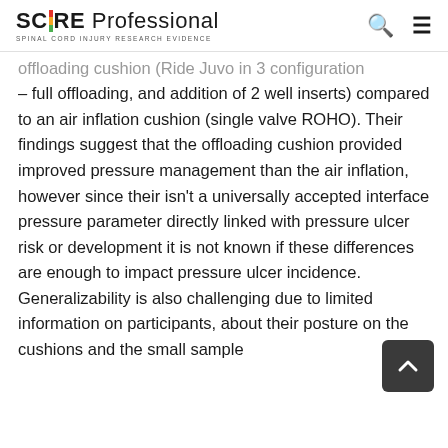SCIRE Professional — SPINAL CORD INJURY RESEARCH EVIDENCE
offloading cushion (Ride Juvo in 3 configuration – full offloading, and addition of 2 well inserts) compared to an air inflation cushion (single valve ROHO). Their findings suggest that the offloading cushion provided improved pressure management than the air inflation, however since their isn't a universally accepted interface pressure parameter directly linked with pressure ulcer risk or development it is not known if these differences are enough to impact pressure ulcer incidence. Generalizability is also challenging due to limited information on participants, about their posture on the cushions and the small sample